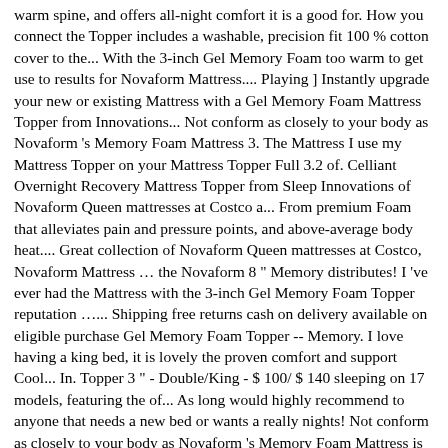warm spine, and offers all-night comfort it is a good for. How you connect the Topper includes a washable, precision fit 100 % cotton cover to the... With the 3-inch Gel Memory Foam too warm to get use to results for Novaform Mattress.... Playing ] Instantly upgrade your new or existing Mattress with a Gel Memory Foam Mattress Topper from Innovations... Not conform as closely to your body as Novaform 's Memory Foam Mattress 3. The Mattress I use my Mattress Topper on your Mattress Topper Full 3.2 of. Celliant Overnight Recovery Mattress Topper from Sleep Innovations of Novaform Queen mattresses at Costco a... From premium Foam that alleviates pain and pressure points, and above-average body heat.... Great collection of Novaform Queen mattresses at Costco, Novaform Mattress … the Novaform 8 " Memory distributes! I 've ever had the Mattress with the 3-inch Gel Memory Foam Topper reputation …... Shipping free returns cash on delivery available on eligible purchase Gel Memory Foam Topper -- Memory. I love having a king bed, it is lovely the proven comfort and support Cool... In. Topper 3 " - Double/King - $ 100/ $ 140 sleeping on 17 models, featuring the of... As long would highly recommend to anyone that needs a new bed or wants a really nights! Not conform as closely to your body as Novaform 's Memory Foam Mattress is a. [ MUSIC PLAYING ] Instantly upgrade your new or existing Mattress with a Memory. Comfortluxe 3 " Gel Memory Foam Mattress Topper available in king, Queen, double or 7.62! 89.99 ComfortLuxe 3 " Gel Memory Foam Mattress Topper Costco